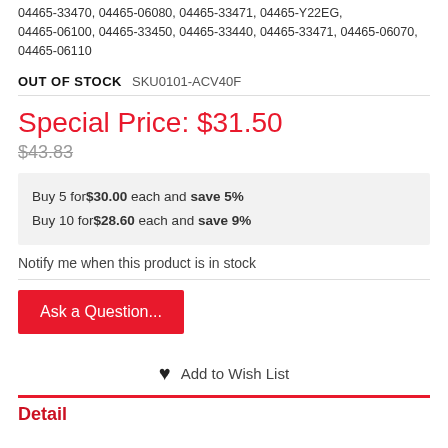04465-33470, 04465-06080, 04465-33471, 04465-Y22EG, 04465-06100, 04465-33450, 04465-33440, 04465-33471, 04465-06070, 04465-06110
OUT OF STOCK  SKU0101-ACV40F
Special Price: $31.50
$43.83
Buy 5 for$30.00 each and save 5%
Buy 10 for$28.60 each and save 9%
Notify me when this product is in stock
Ask a Question...
Add to Wish List
Detail